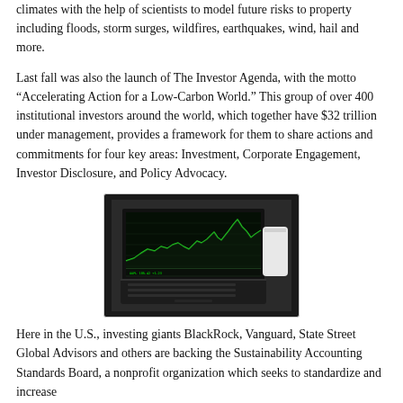climates with the help of scientists to model future risks to property including floods, storm surges, wildfires, earthquakes, wind, hail and more.
Last fall was also the launch of The Investor Agenda, with the motto “Accelerating Action for a Low-Carbon World.” This group of over 400 institutional investors around the world, which together have $32 trillion under management, provides a framework for them to share actions and commitments for four key areas: Investment, Corporate Engagement, Investor Disclosure, and Policy Advocacy.
[Figure (photo): A laptop computer displaying a green stock market chart/trading interface on its screen, photographed on a light surface.]
Here in the U.S., investing giants BlackRock, Vanguard, State Street Global Advisors and others are backing the Sustainability Accounting Standards Board, a nonprofit organization which seeks to standardize and increase